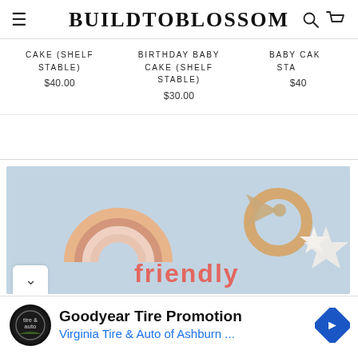BUILDTOBLOSSOM
CAKE (SHELF STABLE)
$40.00
BIRTHDAY BABY CAKE (SHELF STABLE)
$30.00
BABY CAKE (SHELF STABLE)
$40
[Figure (photo): Baby toy accessories photo showing wooden rainbow, ring, bird and star teethers on light blue background with text partially visible]
[Figure (screenshot): Advertisement banner: Goodyear Tire Promotion - Virginia Tire & Auto of Ashburn with logo and navigation icon]